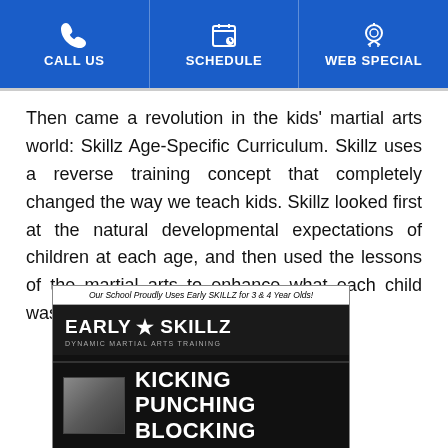CALL US | SCHEDULE | WEB SPECIAL
Then came a revolution in the kids' martial arts world: Skillz Age-Specific Curriculum. Skillz uses a reverse training concept that completely changed the way we teach kids. Skillz looked first at the natural developmental expectations of children at each age, and then used the lessons of the martial arts to enhance what each child was already learning how to do.
[Figure (photo): Early Skillz promotional banner. Top text: 'Our School Proudly Uses Early SKILLZ for 3 & 4 Year Olds!' with Early Skillz logo (EARLY star SKILLZ, DYNAMIC MARTIAL ARTS TRAINING) on dark background, and bottom section showing a child photo with text KICKING, PUNCHING, BLOCKING.]